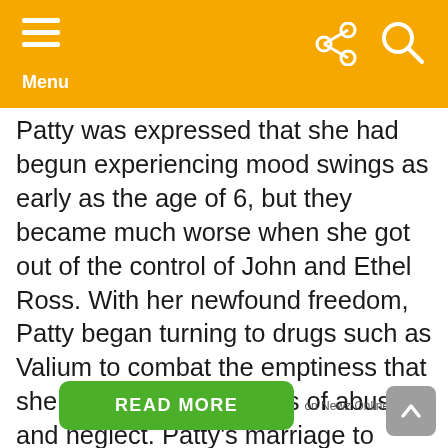Menu
Patty was expressed that she had begun experiencing mood swings as early as the age of 6, but they became much worse when she got out of the control of John and Ethel Ross. With her newfound freedom, Patty began turning to drugs such as Valium to combat the emptiness that she felt inside after years of abuse and neglect. Patty’s marriage to Harry Falk only lasted four years, during which time Patty was also said to have become anorexic.
READ MORE on Newz Online